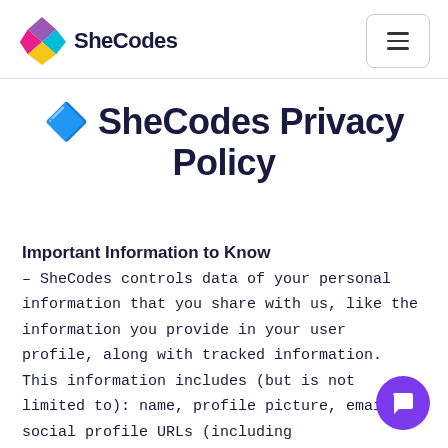SheCodes
🔷 SheCodes Privacy Policy
Important Information to Know
– SheCodes controls data of your personal information that you share with us, like the information you provide in your user profile, along with tracked information. This information includes (but is not limited to): name, profile picture, email, social profile URLs (including